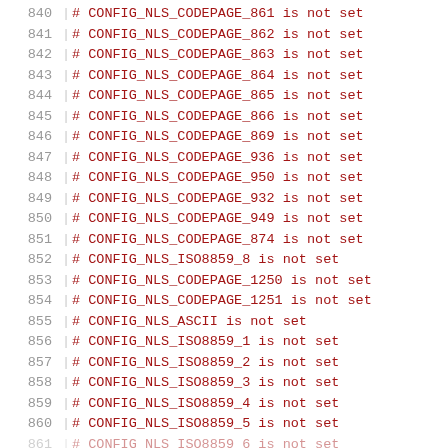840  # CONFIG_NLS_CODEPAGE_861 is not set
841  # CONFIG_NLS_CODEPAGE_862 is not set
842  # CONFIG_NLS_CODEPAGE_863 is not set
843  # CONFIG_NLS_CODEPAGE_864 is not set
844  # CONFIG_NLS_CODEPAGE_865 is not set
845  # CONFIG_NLS_CODEPAGE_866 is not set
846  # CONFIG_NLS_CODEPAGE_869 is not set
847  # CONFIG_NLS_CODEPAGE_936 is not set
848  # CONFIG_NLS_CODEPAGE_950 is not set
849  # CONFIG_NLS_CODEPAGE_932 is not set
850  # CONFIG_NLS_CODEPAGE_949 is not set
851  # CONFIG_NLS_CODEPAGE_874 is not set
852  # CONFIG_NLS_ISO8859_8 is not set
853  # CONFIG_NLS_CODEPAGE_1250 is not set
854  # CONFIG_NLS_CODEPAGE_1251 is not set
855  # CONFIG_NLS_ASCII is not set
856  # CONFIG_NLS_ISO8859_1 is not set
857  # CONFIG_NLS_ISO8859_2 is not set
858  # CONFIG_NLS_ISO8859_3 is not set
859  # CONFIG_NLS_ISO8859_4 is not set
860  # CONFIG_NLS_ISO8859_5 is not set
861  # CONFIG_NLS_ISO8859_6 is not set